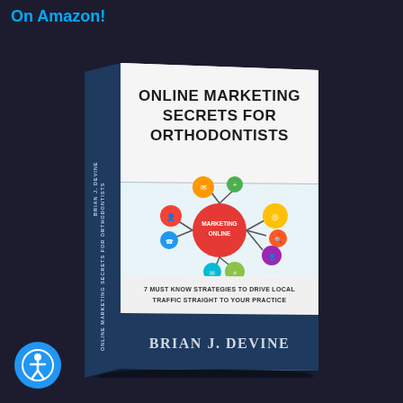On Amazon!
[Figure (illustration): 3D rendered book cover for 'Online Marketing Secrets for Orthodontists' by Brian J. Devine. The book cover shows a network/marketing diagram with connected circles containing icons, centered on a red circle labeled 'Marketing Online'. Subtitle: 7 Must Know Strategies to Drive Local Traffic Straight to Your Practice.]
[Figure (illustration): Accessibility icon button (blue circle with person symbol) in the bottom left corner.]